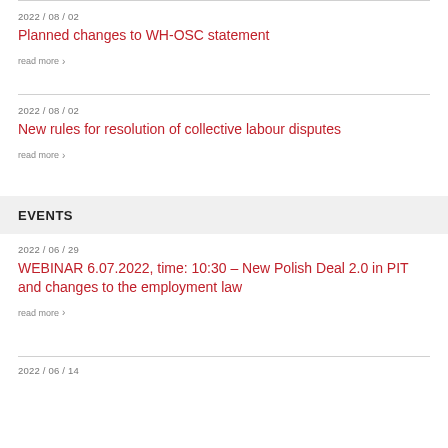2022 / 08 / 02
Planned changes to WH-OSC statement
read more ›
2022 / 08 / 02
New rules for resolution of collective labour disputes
read more ›
EVENTS
2022 / 06 / 29
WEBINAR 6.07.2022, time: 10:30 – New Polish Deal 2.0 in PIT and changes to the employment law
read more ›
2022 / 06 / 14